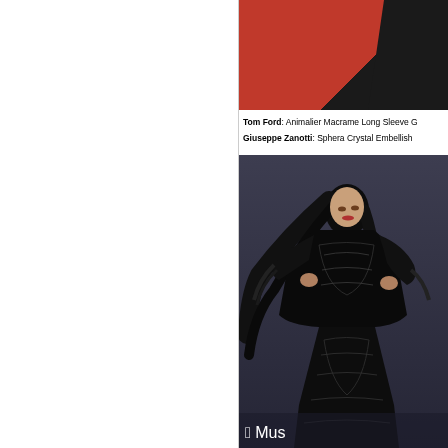[Figure (photo): Partial photo on red background showing black lace/macrame garment and dark accessory]
Tom Ford: Animalier Macrame Long Sleeve G...
Giuseppe Zanotti: Sphera Crystal Embellish...
[Figure (photo): Asian female celebrity wearing black lace long sleeve gown posing at Apple Music event (net Asian music awards backdrop), long black hair flowing to the side]